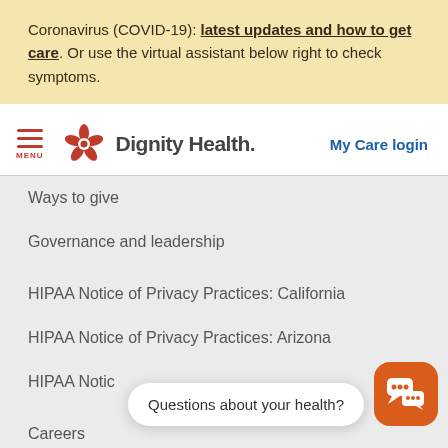Coronavirus (COVID-19): latest updates and how to get care. Or use the virtual assistant below right to check symptoms.
[Figure (logo): Dignity Health logo with orange flower icon and text 'Dignity Health.']
My Care login
Ways to give
Governance and leadership
HIPAA Notice of Privacy Practices: California
HIPAA Notice of Privacy Practices: Arizona
HIPAA Notic[e of Privacy Practices: ...]
Careers
For physicians
Questions about your health?